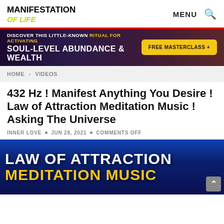MANIFESTATION OF LIFE | MENU 🔍
[Figure (infographic): Ad banner: dark purple-red gradient background. Text: 'DISCOVER THIS LITTLE-KNOWN RITUAL FOR ACTIVATING SOUL-LEVEL ABUNDANCE & WEALTH' with a yellow 'FREE MASTERCLASS +' button.]
HOME > VIDEOS
432 Hz ! Manifest Anything You Desire ! Law of Attraction Meditation Music ! Asking The Universe
INNER LOVE • JUN 28, 2021 • COMMENTS OFF
[Figure (photo): Thumbnail image with blue cosmic background. White bold text 'LAW OF ATTRACTION' on top, yellow bold text 'MEDITATION MUSIC' below.]